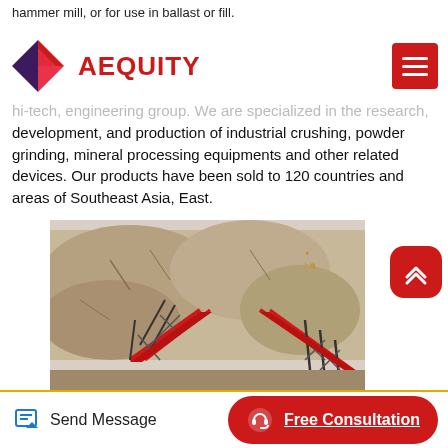hammer mill, or for use in ballast or fill.
[Figure (logo): AEQUITY logo with red diamond/arrow shape and red text, plus hamburger menu button on the right]
hi-tech, engineering group. We are specialized in the research, development, and production of industrial crushing, powder grinding, mineral processing equipments and other related devices. Our products have been sold to 120 countries and areas of Southeast Asia, East.
[Figure (photo): Photo of industrial conveyor belt equipment and crushing machinery in a quarry/mining setting with rocky terrain in background. Chinese logo watermark visible in top right corner.]
Send Message   Free Consultation